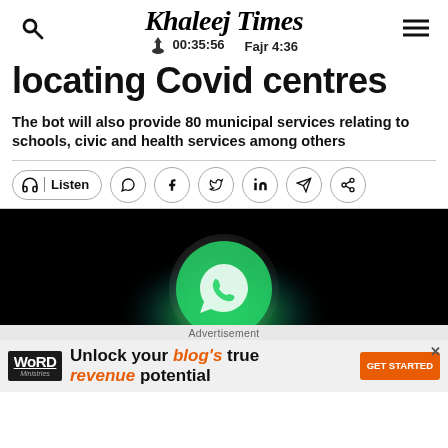Khaleej Times — 00:35:56  Fajr 4:36
locating Covid centres
The bot will also provide 80 municipal services relating to schools, civic and health services among others
[Figure (screenshot): WhatsApp logo icon glowing green on black background]
Advertisement — Unlock your blog's true revenue potential — GET STARTED